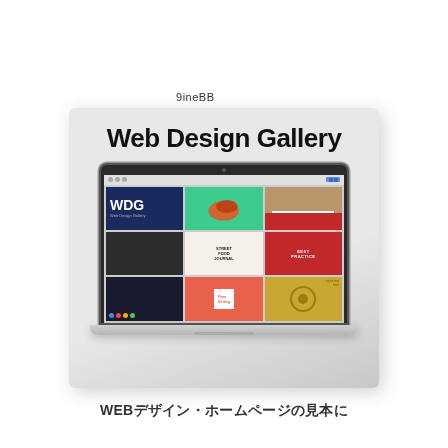9ineBB
[Figure (screenshot): Book cover showing a MacBook laptop displaying a website called 'Web Design Gallery' (WDG) with a grid of colorful website thumbnails. The book cover has a light gray gradient background.]
Web Design Gallery
WEBデザイン・ホームページの見本に